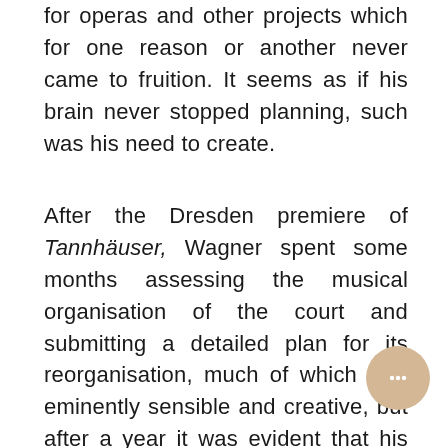for operas and other projects which for one reason or another never came to fruition. It seems as if his brain never stopped planning, such was his need to create.
After the Dresden premiere of Tannhäuser, Wagner spent some months assessing the musical organisation of the court and submitting a detailed plan for its reorganisation, much of which was eminently sensible and creative, but after a year it was evident that his plan had been ignored. Wagner ruffled more than a few feathers in 1846 by conducting Beethoven's ninth symphony, a work then considered largely unapproachable,